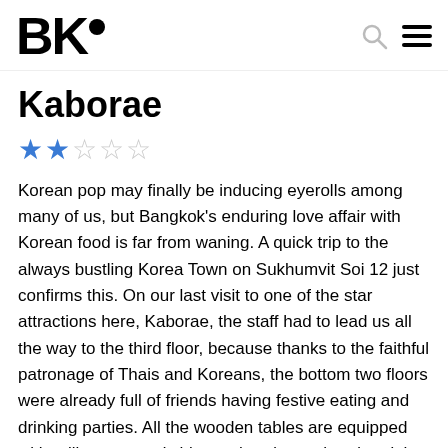BK●
Kaborae
★★☆☆☆
Korean pop may finally be inducing eyerolls among many of us, but Bangkok's enduring love affair with Korean food is far from waning. A quick trip to the always bustling Korea Town on Sukhumvit Soi 12 just confirms this. On our last visit to one of the star attractions here, Kaborae, the staff had to lead us all the way to the third floor, because thanks to the faithful patronage of Thais and Koreans, the bottom two floors were already full of friends having festive eating and drinking parties. All the wooden tables are equipped with grill stoves and chimney hoods overhead and the walls are crowded with Korean knick knacks and